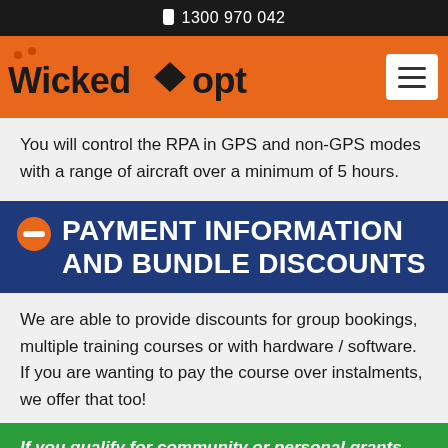1300 970 042
[Figure (logo): Wicked Copters logo with orange background and hamburger menu button]
You will control the RPA in GPS and non-GPS modes with a range of aircraft over a minimum of 5 hours.
PAYMENT INFORMATION AND BUNDLE DISCOUNTS
We are able to provide discounts for group bookings, multiple training courses or with hardware / software. If you are wanting to pay the course over instalments, we offer that too!
If you qualify for community or personal grants, contact us for the discounted rate, and we can supply you with documentation, as required